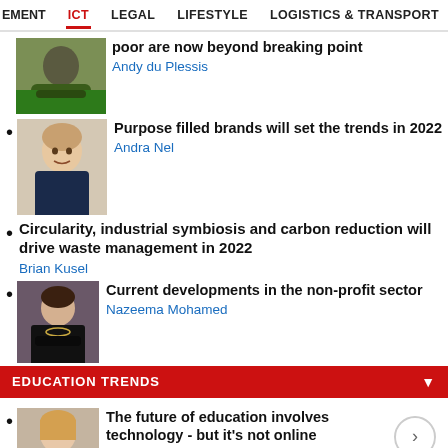EMENT  ICT  LEGAL  LIFESTYLE  LOGISTICS & TRANSPORT  MANUFA
poor are now beyond breaking point — Andy du Plessis
Purpose filled brands will set the trends in 2022 — Andra Nel
Circularity, industrial symbiosis and carbon reduction will drive waste management in 2022 — Brian Kusel
Current developments in the non-profit sector — Nazeema Mohamed
EDUCATION TRENDS
The future of education involves technology - but it's not online